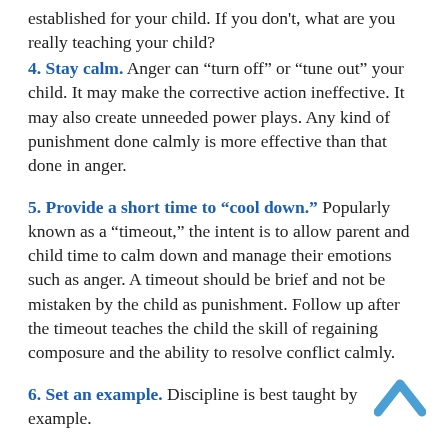established for your child. If you don't, what are you really teaching your child?
4. Stay calm. Anger can “turn off” or “tune out” your child. It may make the corrective action ineffective. It may also create unneeded power plays. Any kind of punishment done calmly is more effective than that done in anger.
5. Provide a short time to “cool down.” Popularly known as a “timeout,” the intent is to allow parent and child time to calm down and manage their emotions such as anger. A timeout should be brief and not be mistaken by the child as punishment. Follow up after the timeout teaches the child the skill of regaining composure and the ability to resolve conflict calmly.
6. Set an example. Discipline is best taught by example.
[Figure (other): Blue upward-pointing chevron/arrow icon in the bottom right corner]